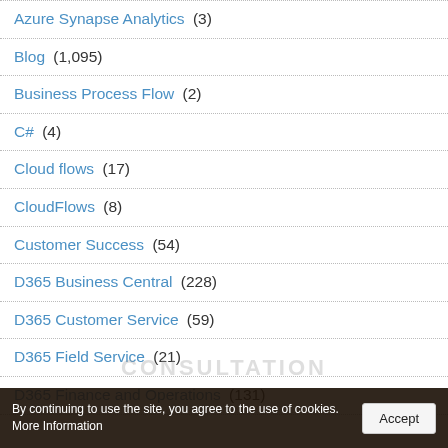Azure Synapse Analytics (3)
Blog (1,095)
Business Process Flow (2)
C# (4)
Cloud flows (17)
CloudFlows (8)
Customer Success (54)
D365 Business Central (228)
D365 Customer Service (59)
D365 Field Service (21)
D365 Finance and Operations (131)
By continuing to use the site, you agree to the use of cookies. More Information